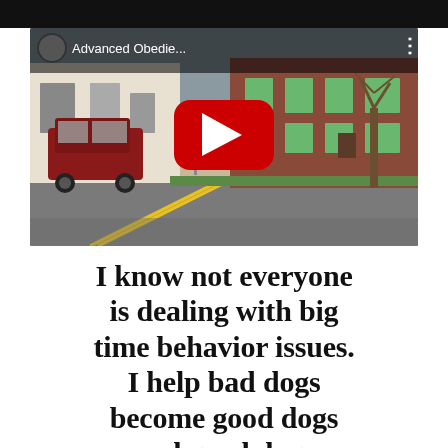[Figure (screenshot): YouTube video thumbnail showing a street scene with a red van, brick building, yellow road signs, and a YouTube play button overlay. Video title reads 'Advanced Obedie...' with channel avatar and three-dot menu.]
I know not everyone is dealing with big time behavior issues. I help bad dogs become good dogs and good dogs